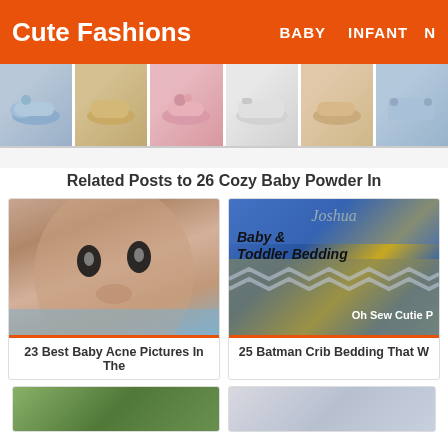Cute Fashions — BABY  INFANT  N…
[Figure (photo): Horizontal strip of six baby/children shoe photos]
Related Posts to 26 Cozy Baby Powder In…
[Figure (photo): Close-up photo of a baby's face with wide eyes]
23 Best Baby Acne Pictures In The
[Figure (photo): Baby & Toddler Bedding photo showing blue Batman crib bedding with text overlay 'Baby & Toddler Bedding' and 'Oh Sew Cutie P…']
25 Batman Crib Bedding That W…
[Figure (photo): Partial photo at bottom left, appears outdoors/nature]
[Figure (photo): Partial photo at bottom right]